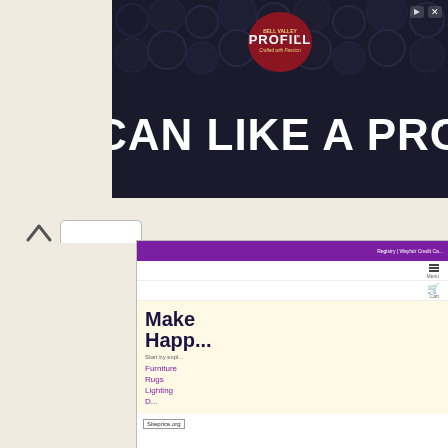[Figure (screenshot): Advertisement banner showing 'PROFILL - CAN LIKE A PRO' with dark background and circular can lids pattern]
[Figure (screenshot): Wayfair.com website screenshot showing purple header navigation, menu, cart, and hero section with 'Make Happ...' text and product categories: Furniture, Rugs, Lighting. Siteprice.org watermark visible.]
Scroll Top
[Figure (other): Teal/cyan Like button with heart icon showing 'Like 0']
[Figure (logo): Siteprice.org logo - colorful cross/diamond shape in green, purple, yellow]
wayfair.com
wayfair.com - online home store for furniture, decor, outdoors & more | wayfair